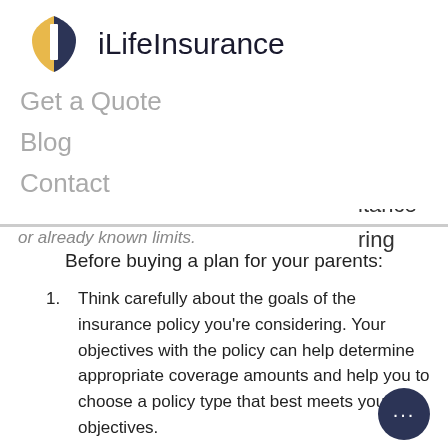iLifeInsurance
Get a Quote
Blog
Contact
ir all of
n your
ance
policy
t the
itance
ring
Before buying a plan for your parents:
Think carefully about the goals of the insurance policy you're considering. Your objectives with the policy can help determine appropriate coverage amounts and help you to choose a policy type that best meets your objectives.
After you've established the goals